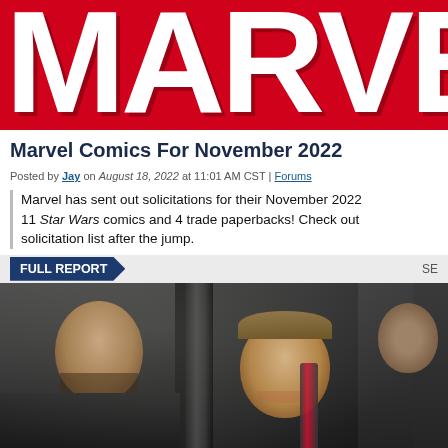[Figure (logo): Marvel Comics red logo banner with white MARVEL text, cropped showing MARVE letters]
Marvel Comics For November 2022
Posted by Jay on August 18, 2022 at 11:01 AM CST | Forums
Marvel has sent out solicitations for their November 2022 11 Star Wars comics and 4 trade paperbacks! Check out solicitation list after the jump.
FULL REPORT
[Figure (photo): Behind-the-scenes photo showing film crew members on a movie set, with a man in dark jacket in foreground left, a smiling man in center holding camera equipment, and other crew members in background]